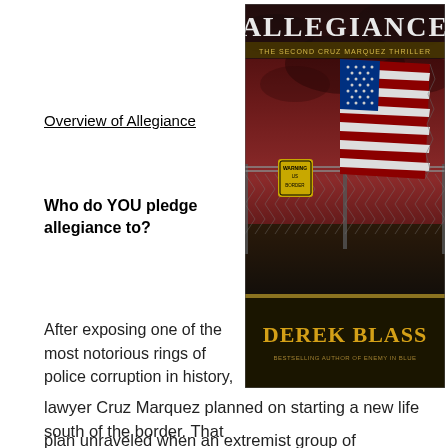Overview of Allegiance
[Figure (illustration): Book cover for 'Allegiance: The Second Cruz Marquez Thriller' by Derek Blass, bestselling author of Enemy in Blue. Cover shows a tattered American flag hanging on a border fence with barbed wire against a dark red stormy sky, with a yellow warning sign saying 'WARNING US BORDER'.]
Who do YOU pledge allegiance to?
After exposing one of the most notorious rings of police corruption in history,
lawyer Cruz Marquez planned on starting a new life south of the border. That
plan unraveled when an extremist group of